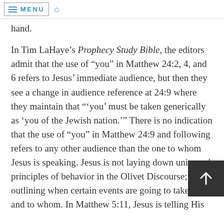≡ MENU  [home icon]
somehow shifts to a distant future audience. [partial/cut off at top] : only one to try this sleight of hand.
In Tim LaHaye’s Prophecy Study Bible, the editors admit that the use of “you” in Matthew 24:2, 4, and 6 refers to Jesus’ immediate audience, but then they see a change in audience reference at 24:9 where they maintain that ‘’you’ must be taken generically as ‘you of the Jewish nation.’” There is no indication that the use of “you” in Matthew 24:9 and following refers to any other audience than the one to whom Jesus is speaking. Jesus is not laying down universal principles of behavior in the Olivet Discourse; He is outlining when certain events are going to take place and to whom. In Matthew 5:11, Jesus is telling His